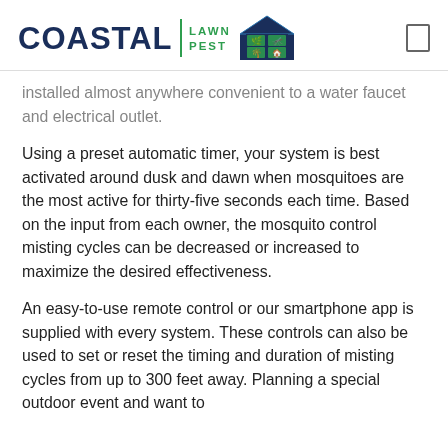[Figure (logo): Coastal Lawn Pest logo with navy blue COASTAL text, green vertical divider, green LAWN PEST stacked text, and navy blue house icon with lawn/pest symbols]
installed almost anywhere convenient to a water faucet and electrical outlet.
Using a preset automatic timer, your system is best activated around dusk and dawn when mosquitoes are the most active for thirty-five seconds each time. Based on the input from each owner, the mosquito control misting cycles can be decreased or increased to maximize the desired effectiveness.
An easy-to-use remote control or our smartphone app is supplied with every system. These controls can also be used to set or reset the timing and duration of misting cycles from up to 300 feet away. Planning a special outdoor event and want to